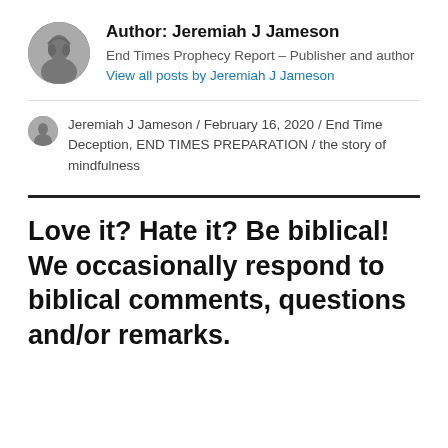Author: Jeremiah J Jameson
End Times Prophecy Report – Publisher and author View all posts by Jeremiah J Jameson
Jeremiah J Jameson / February 16, 2020 / End Time Deception, END TIMES PREPARATION / the story of mindfulness
Love it? Hate it? Be biblical! We occasionally respond to biblical comments, questions and/or remarks.